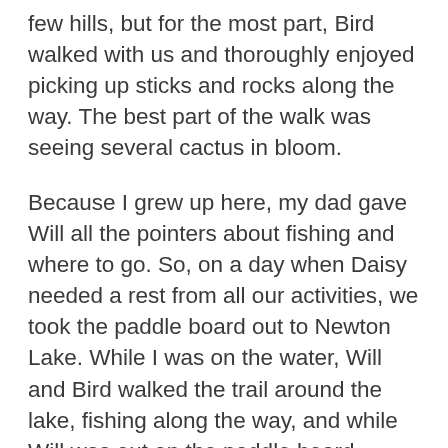few hills, but for the most part, Bird walked with us and thoroughly enjoyed picking up sticks and rocks along the way. The best part of the walk was seeing several cactus in bloom.
Because I grew up here, my dad gave Will all the pointers about fishing and where to go. So, on a day when Daisy needed a rest from all our activities, we took the paddle board out to Newton Lake. While I was on the water, Will and Bird walked the trail around the lake, fishing along the way, and while Will was out on the paddle board fishing, Bird and I had lunch and played in the water. Will caught a few, and as always, it was a treat just to get out on the paddle board.